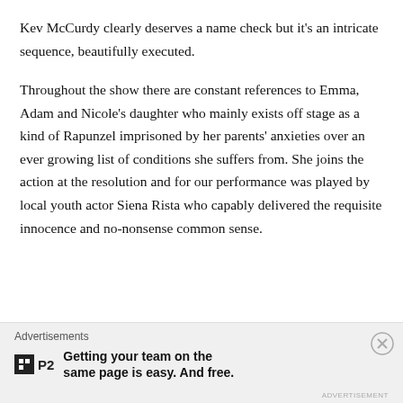Kev McCurdy clearly deserves a name check but it's an intricate sequence, beautifully executed.
Throughout the show there are constant references to Emma, Adam and Nicole's daughter who mainly exists off stage as a kind of Rapunzel imprisoned by her parents' anxieties over an ever growing list of conditions she suffers from. She joins the action at the resolution and for our performance was played by local youth actor Siena Rista who capably delivered the requisite innocence and no-nonsense common sense.
Advertisements
Getting your team on the same page is easy. And free.